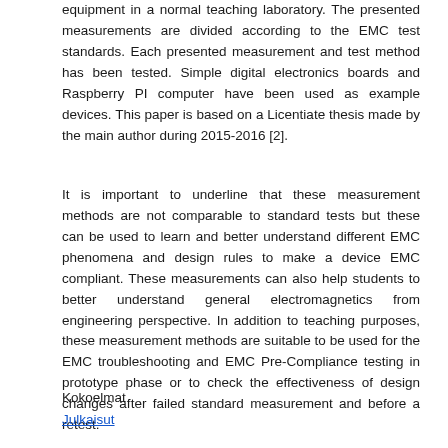equipment in a normal teaching laboratory. The presented measurements are divided according to the EMC test standards. Each presented measurement and test method has been tested. Simple digital electronics boards and Raspberry PI computer have been used as example devices. This paper is based on a Licentiate thesis made by the main author during 2015-2016 [2].
It is important to underline that these measurement methods are not comparable to standard tests but these can be used to learn and better understand different EMC phenomena and design rules to make a device EMC compliant. These measurements can also help students to better understand general electromagnetics from engineering perspective. In addition to teaching purposes, these measurement methods are suitable to be used for the EMC troubleshooting and EMC Pre-Compliance testing in prototype phase or to check the effectiveness of design changes after failed standard measurement and before a retest.
Kokoelmat
Julkaisut